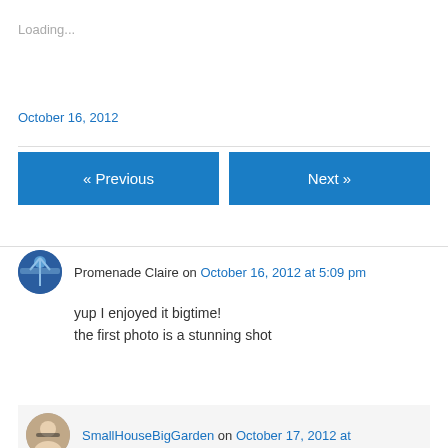Loading...
October 16, 2012
« Previous
Next »
Promenade Claire on October 16, 2012 at 5:09 pm
yup I enjoyed it bigtime!
the first photo is a stunning shot
SmallHouseBigGarden on October 17, 2012 at